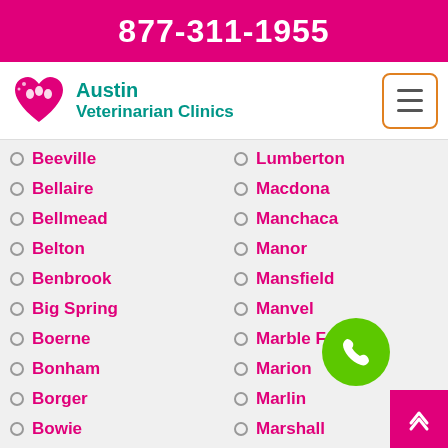877-311-1955
[Figure (logo): Austin Veterinarian Clinics logo with heart and paw icon]
Beeville
Lumberton
Bellaire
Macdona
Bellmead
Manchaca
Belton
Manor
Benbrook
Mansfield
Big Spring
Manvel
Boerne
Marble Falls
Bonham
Marion
Borger
Marlin
Bowie
Marshall
Brady
Martindale
Breckenridge
Mathis
Brenham
Mc Neil